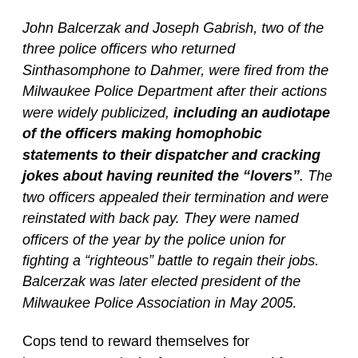John Balcerzak and Joseph Gabrish, two of the three police officers who returned Sinthasomphone to Dahmer, were fired from the Milwaukee Police Department after their actions were widely publicized, including an audiotape of the officers making homophobic statements to their dispatcher and cracking jokes about having reunited the “lovers”. The two officers appealed their termination and were reinstated with back pay. They were named officers of the year by the police union for fighting a “righteous” battle to regain their jobs. Balcerzak was later elected president of the Milwaukee Police Association in May 2005.
Cops tend to reward themselves for incompetence, lack of compassion, and for homophobia and racism. And even towards their own, they can be worse: